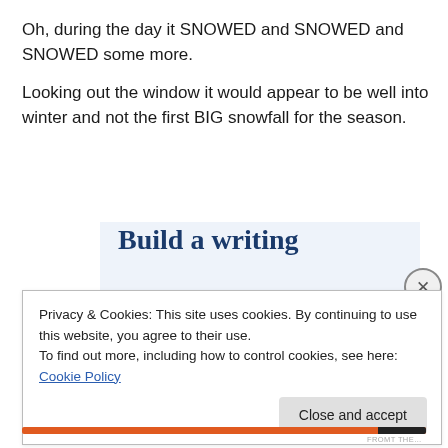Oh, during the day it SNOWED and SNOWED and SNOWED some more.
Looking out the window it would appear to be well into winter and not the first BIG snowfall for the season.
[Figure (screenshot): WordPress app advertisement banner showing 'Build a writing habit. Post on the go.' with a 'GET THE APP' link and WordPress logo.]
Privacy & Cookies: This site uses cookies. By continuing to use this website, you agree to their use.
To find out more, including how to control cookies, see here: Cookie Policy
Close and accept